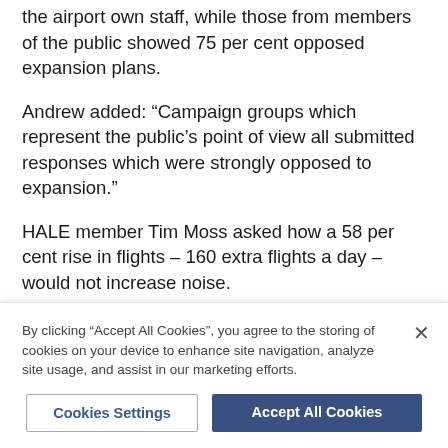the airport own staff, while those from members of the public showed 75 per cent opposed expansion plans.
Andrew added: “Campaign groups which represent the public’s point of view all submitted responses which were strongly opposed to expansion.”
HALE member Tim Moss asked how a 58 per cent rise in flights – 160 extra flights a day – would not increase noise.
He explained: “It simply does not add up and the truth is that the airport will put commercial expedience
By clicking “Accept All Cookies”, you agree to the storing of cookies on your device to enhance site navigation, analyze site usage, and assist in our marketing efforts.
Cookies Settings
Accept All Cookies